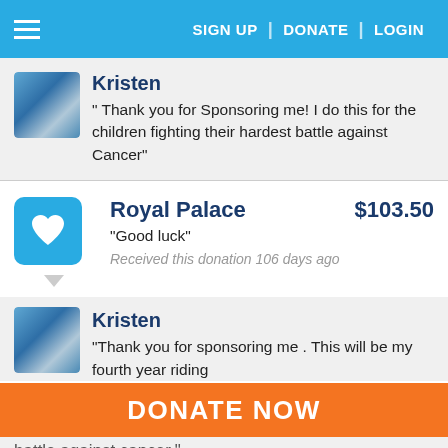SIGN UP | DONATE | LOGIN
Kristen
" Thank you for Sponsoring me! I do this for the children fighting their hardest battle against Cancer"
Royal Palace $103.50
"Good luck"
Received this donation 106 days ago
Kristen
"Thank you for sponsoring me . This will be my fourth year riding battle against cancer"
DONATE NOW
battle against cancer"